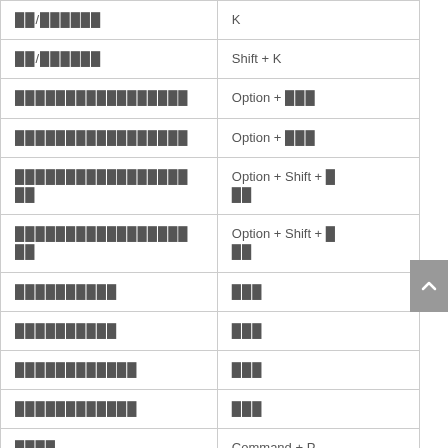| Action | Shortcut |
| --- | --- |
| ████ ██████ | K |
| ██/██████ | Shift + K |
| █████████████████ | Option + ███ |
| █████████████████ | Option + ███ |
| █████████████████
██ | Option + Shift + █
██ |
| █████████████████
██ | Option + Shift + █
██ |
| ██████████ | ███ |
| ██████████ | ███ |
| ████████████ | ███ |
| ████████████ | ███ |
| ████ | Command + P |